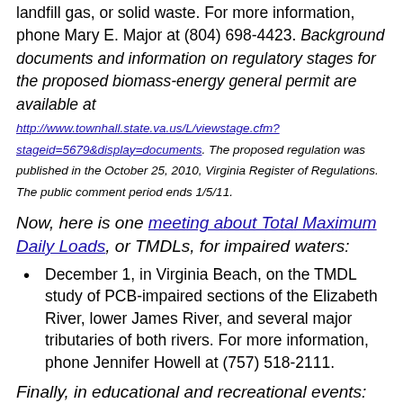landfill gas, or solid waste. For more information, phone Mary E. Major at (804) 698-4423. Background documents and information on regulatory stages for the proposed biomass-energy general permit are available at http://www.townhall.state.va.us/L/viewstage.cfm?stageid=5679&display=documents. The proposed regulation was published in the October 25, 2010, Virginia Register of Regulations. The public comment period ends 1/5/11.
Now, here is one meeting about Total Maximum Daily Loads, or TMDLs, for impaired waters:
December 1, in Virginia Beach, on the TMDL study of PCB-impaired sections of the Elizabeth River, lower James River, and several major tributaries of both rivers. For more information, phone Jennifer Howell at (757) 518-2111.
Finally, in educational and recreational events:
On December 2, from 7 p.m. to 9 p.m. at Old Dominion University in Norfolk, the Chesapeake Bay Foundation is presenting its Blue Planet Forum, featuring a presentation by the